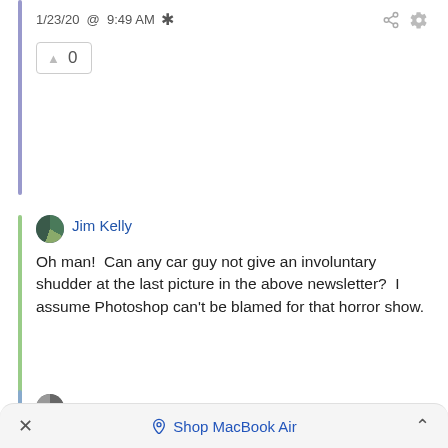1/23/20 @ 9:49 AM *
0
Jim Kelly
Oh man!  Can any car guy not give an involuntary shudder at the last picture in the above newsletter?  I assume Photoshop can't be blamed for that horror show.
1/23/20 @ 10:34 AM
1
Shop MacBook Air